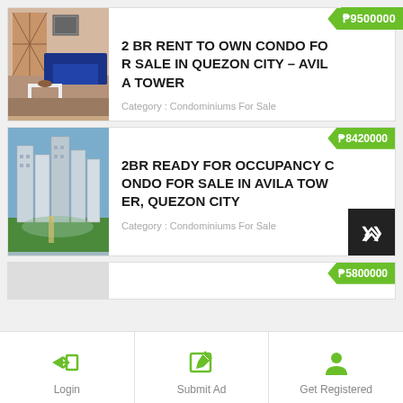[Figure (photo): Interior photo of a living room with decorative screen, blue sofa, and white table]
2 BR RENT TO OWN CONDO FOR SALE IN QUEZON CITY – AVILA TOWER
Category : Condominiums For Sale
[Figure (photo): Aerial view of tall condominium towers in a city development]
2BR READY FOR OCCUPANCY CONDO FOR SALE IN AVILA TOWER, QUEZON CITY
Category : Condominiums For Sale
₱5800000
Login  Submit Ad  Get Registered